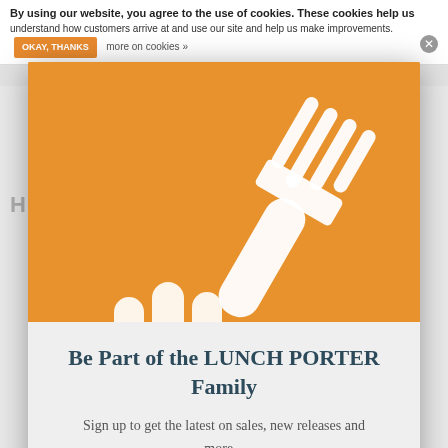By using our website, you agree to the use of cookies. These cookies help us understand how customers arrive at and use our site and help us make improvements.  MORE ON COOKIES »
[Figure (illustration): Orange background with a large white fork and hand illustration — the Lunch Porter logo graphic]
Be Part of the LUNCH PORTER Family
Sign up to get the latest on sales, new releases and more...